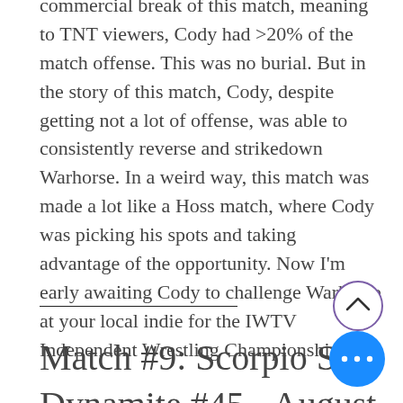commercial break of this match, meaning to TNT viewers, Cody had >20% of the match offense. This was no burial. But in the story of this match, Cody, despite getting not a lot of offense, was able to consistently reverse and strikedown Warhorse. In a weird way, this match was made a lot like a Hoss match, where Cody was picking his spots and taking advantage of the opportunity. Now I'm early awaiting Cody to challenge Warhorse at your local indie for the IWTV Independent Wrestling Championship.
Match #9: Scorpio Sky Dynamite #45 - August 12,